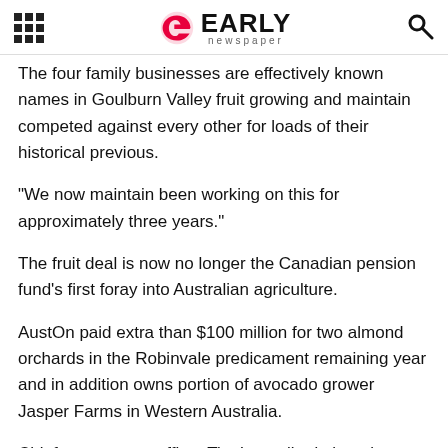Early Newspaper
The four family businesses are effectively known names in Goulburn Valley fruit growing and maintain competed against every other for loads of their historical previous.
“We now maintain been working on this for approximately three years.”
The fruit deal is now no longer the Canadian pension fund’s first foray into Australian agriculture.
AustOn paid extra than $100 million for two almond orchards in the Robinvale predicament remaining year and in addition owns portion of avocado grower Jasper Farms in Western Australia.
Chief government officer Tim Lee talked about in an announcement that AustOn became once proud to be partnering with native farming households and supporting their shared vision for the scheme